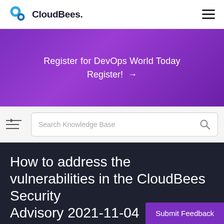CloudBees.
Register for DevOps World Today
Register! →
Search Knowledge Base
How to address the vulnerabilities in the CloudBees Security Advisory 2021-11-04